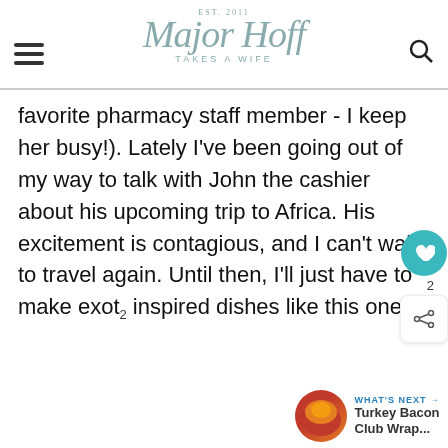Major Hoff Takes a Wife
favorite pharmacy staff member - I keep her busy!). Lately I've been going out of my way to talk with John the cashier about his upcoming trip to Africa. His excitement is contagious, and I can't wait to travel again. Until then, I'll just have to make exot inspired dishes like this one!
WHAT'S NEXT → Turkey Bacon Club Wrap...